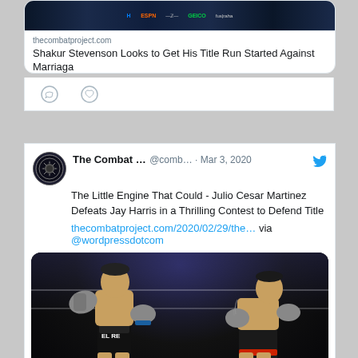[Figure (screenshot): Link card preview for thecombatproject.com article about Shakur Stevenson with banner image showing sponsor logos (ESPN, GEICO, etc.)]
thecombatproject.com
Shakur Stevenson Looks to Get His Title Run Started Against Marriaga
[Figure (other): Twitter action icons: comment bubble and heart/like icon]
The Combat ... @comb… · Mar 3, 2020
The Little Engine That Could - Julio Cesar Martinez Defeats Jay Harris in a Thrilling Contest to Defend Title
thecombatproject.com/2020/02/29/the… via @wordpressdotcom
[Figure (photo): Boxing match photo showing two boxers exchanging punches in a ring. Left boxer wearing 'EL RE' shorts, both wearing boxing gloves. Dark arena background with ring ropes visible.]